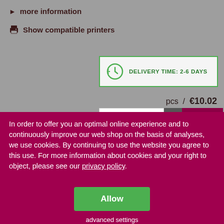> more information
Show compatible printers
DELIVERY TIME: 2-6 DAYS
pcs / €10.02
In order to offer you an optimal online experience and to continuously improve our web shop on the basis of analyses, we use cookies. By continuing to use the website you agree to this use. For more information about cookies and your right to object, please see our privacy policy.
Allow
advanced settings